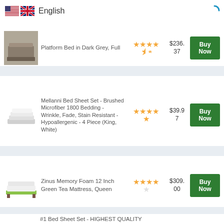[Figure (screenshot): Language selector bar with US and UK flag icons and English text]
Platform Bed in Dark Grey, Full
★★★★½  $236.37  Buy Now
Mellanni Bed Sheet Set - Brushed Microfiber 1800 Bedding - Wrinkle, Fade, Stain Resistant - Hypoallergenic - 4 Piece (King, White)
★★★★★  $39.97  Buy Now
Zinus Memory Foam 12 Inch Green Tea Mattress, Queen
★★★★½  $309.00  Buy Now
#1 Bed Sheet Set - HIGHEST QUALITY